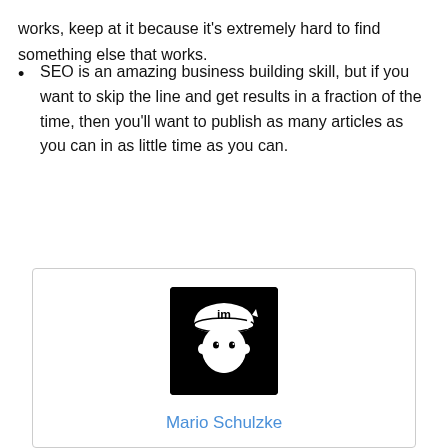works, keep at it because it's extremely hard to find something else that works.
SEO is an amazing business building skill, but if you want to skip the line and get results in a fraction of the time, then you'll want to publish as many articles as you can in as little time as you can.
[Figure (illustration): Cartoon mascot logo of a person wearing a baseball cap with 'im' text on it, white illustration on black background, smiling face]
Mario Schulzke